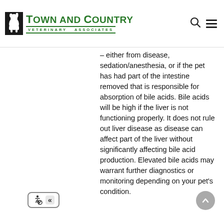[Figure (logo): Town and Country Veterinary Associates logo with black dog/cat silhouette icon and green text]
– either from disease, sedation/anesthesia, or if the pet has had part of the intestine removed that is responsible for absorption of bile acids. Bile acids will be high if the liver is not functioning properly. It does not rule out liver disease as disease can affect part of the liver without significantly affecting bile acid production. Elevated bile acids may warrant further diagnostics or monitoring depending on your pet's condition.